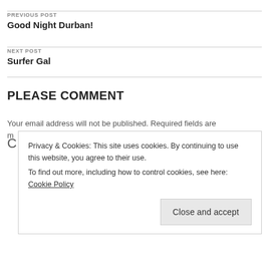PREVIOUS POST
Good Night Durban!
NEXT POST
Surfer Gal
PLEASE COMMENT
Your email address will not be published. Required fields are marked
Privacy & Cookies: This site uses cookies. By continuing to use this website, you agree to their use.
To find out more, including how to control cookies, see here: Cookie Policy
Close and accept